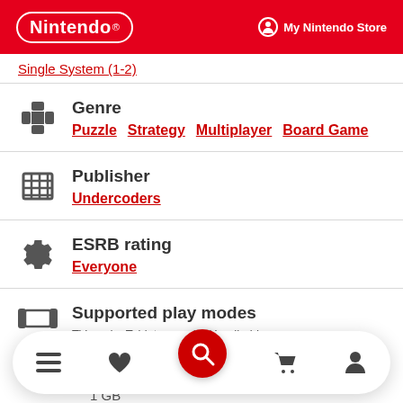Nintendo | My Nintendo Store
Single System (1-2)
Genre
Puzzle  Strategy  Multiplayer  Board Game
Publisher
Undercoders
ESRB rating
Everyone
Supported play modes
Game file size
1 GB